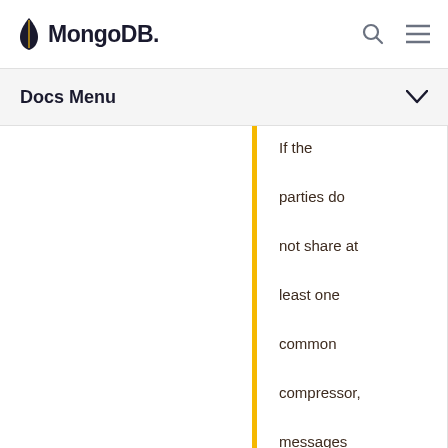MongoDB
Docs Menu
If the parties do not share at least one common compressor, messages between the parties are uncompressed.